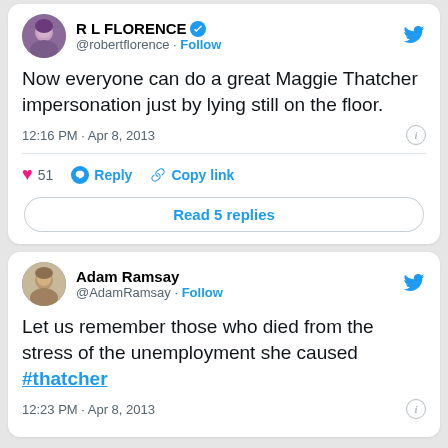[Figure (screenshot): Tweet by R L Florence (@robertflorence) - verified account. Tweet text: 'Now everyone can do a great Maggie Thatcher impersonation just by lying still on the floor.' Posted at 12:16 PM · Apr 8, 2013. 51 likes. Actions: Reply, Copy link. Read 5 replies button.]
[Figure (screenshot): Tweet by Adam Ramsay (@AdamRamsay). Tweet text: 'Let us remember those who died from the stress of the unemployment she caused #thatcher'. Posted at 12:23 PM · Apr 8, 2013.]